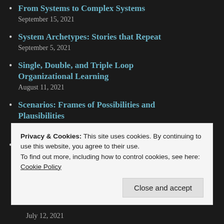From Systems to Complex Systems
September 15, 2021
System Archetypes: Stories that Repeat
September 5, 2021
Single, Double, and Triple Loop Organizational Learning
August 11, 2021
Scenarios: Frames of Possibilities and Plausibilities
August 2, 2021
Frames in Interaction
Privacy & Cookies: This site uses cookies. By continuing to use this website, you agree to their use.
To find out more, including how to control cookies, see here:
Cookie Policy
Close and accept
July 12, 2021